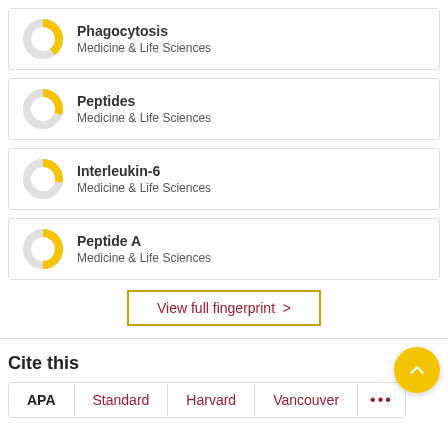[Figure (donut-chart): Donut chart icon for Phagocytosis, yellow segment approximately 40%]
Phagocytosis
Medicine & Life Sciences
[Figure (donut-chart): Donut chart icon for Peptides, yellow segment approximately 30%]
Peptides
Medicine & Life Sciences
[Figure (donut-chart): Donut chart icon for Interleukin-6, yellow segment approximately 35%]
Interleukin-6
Medicine & Life Sciences
[Figure (donut-chart): Donut chart icon for Peptide A, yellow segment approximately 50%]
Peptide A
Medicine & Life Sciences
View full fingerprint >
Cite this
APA   Standard   Harvard   Vancouver   ...